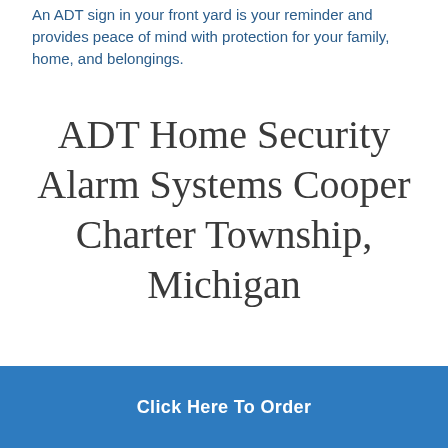An ADT sign in your front yard is your reminder and provides peace of mind with protection for your family, home, and belongings.
ADT Home Security Alarm Systems Cooper Charter Township, Michigan
Click Here To Order